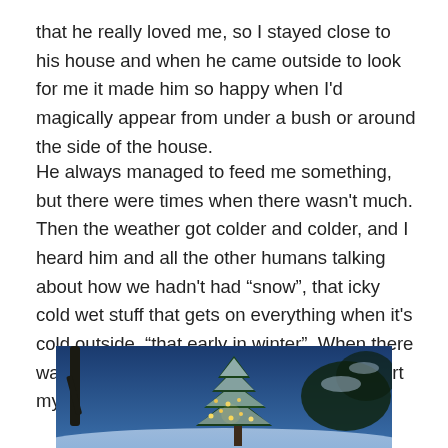that he really loved me, so I stayed close to his house and when he came outside to look for me it made him so happy when I'd magically appear from under a bush or around the side of the house.
He always managed to feed me something, but there were times when there wasn't much. Then the weather got colder and colder, and I heard him and all the other humans talking about how we hadn't had “snow”, that icky cold wet stuff that gets on everything when it's cold outside, “that early in winter”. When there wasn't snow it was just cold, and it really hurt my paws.
[Figure (photo): A winter outdoor scene showing a snow-covered evergreen tree with Christmas lights, against a blue twilight background with bare tree trunks visible.]